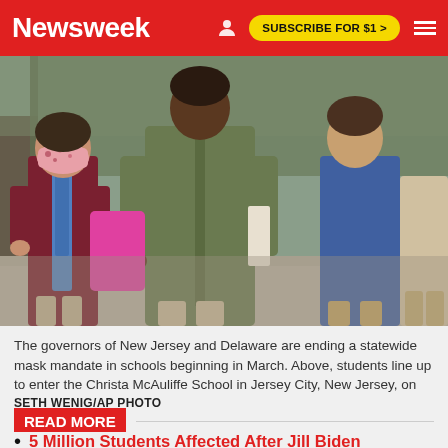Newsweek | SUBSCRIBE FOR $1 >
[Figure (photo): Children wearing masks and backpacks line up outside a school building. A child wearing a floral mask and maroon polo shirt with a blue backpack is visible at the left. Other children in coats and backpacks walk in a line along a path.]
The governors of New Jersey and Delaware are ending a statewide mask mandate in schools beginning in March. Above, students line up to enter the Christa McAuliffe School in Jersey City, New Jersey, on April 29, 2021.
SETH WENIG/AP PHOTO
READ MORE
5 Million Students Affected After Jill Biden